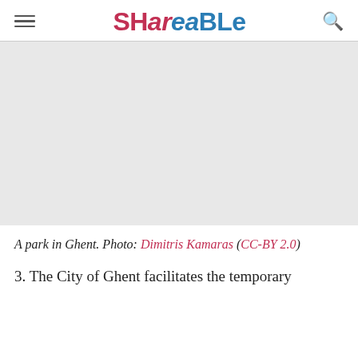SHAREABLE
[Figure (photo): A park in Ghent — image placeholder (white/light gray area)]
A park in Ghent. Photo: Dimitris Kamaras (CC-BY 2.0)
3. The City of Ghent facilitates the temporary